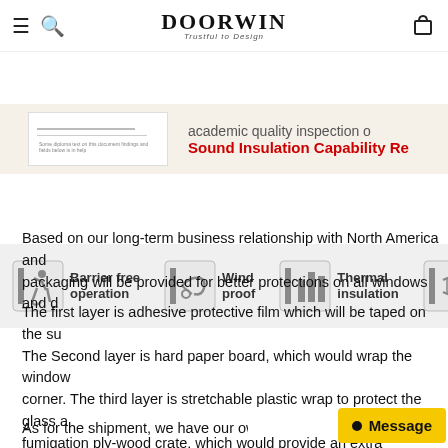DOORWIN — Trustful to Design (navigation bar with hamburger menu, search, cart)
[Figure (screenshot): Partial banner showing a document image on the left and text on the right: 'academic quality inspection' and 'Sound Insulation Capability Re' in red bold]
[Figure (infographic): Features strip showing four icons with labels: Barrier free operation, Wind proof, Thermal insulation, and a partially visible fourth feature]
Based on our long-term business relationship with North America and packaging will be provided for better protections on all windows and d
The first layer is adhesive protective film which will be taped on the su The Second layer is hard paper board, which would wrap the window corner. The third layer is stretchable plastic wrap to protect the glass a fumigation ply-wood crate, which would provide an extra protection for worry about in long- transportation. We want to make sure the window
As for the shipment, we have our own shipping agent ke